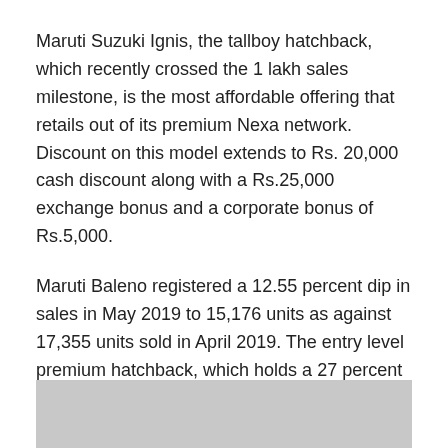Maruti Suzuki Ignis, the tallboy hatchback, which recently crossed the 1 lakh sales milestone, is the most affordable offering that retails out of its premium Nexa network. Discount on this model extends to Rs. 20,000 cash discount along with a Rs.25,000 exchange bonus and a corporate bonus of Rs.5,000.
Maruti Baleno registered a 12.55 percent dip in sales in May 2019 to 15,176 units as against 17,355 units sold in April 2019. The entry level premium hatchback, which holds a 27 percent share in the segment, is being presented at an exchange bonus of Rs.15,000 and Rs.5,000 corporate discount.
[Figure (photo): Gray placeholder image at the bottom of the page]